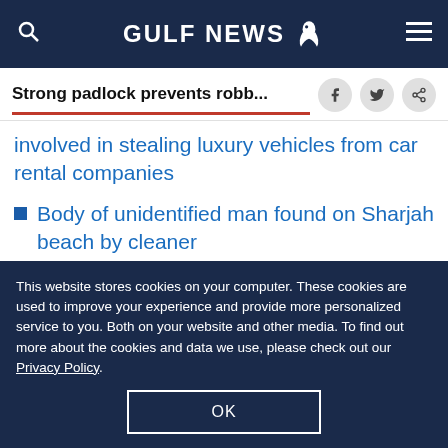GULF NEWS
Strong padlock prevents robb...
involved in stealing luxury vehicles from car rental companies
Body of unidentified man found on Sharjah beach by cleaner
Dubai police station amicably settles Dh315 million worth of cheque cases
This website stores cookies on your computer. These cookies are used to improve your experience and provide more personalized service to you. Both on your website and other media. To find out more about the cookies and data we use, please check out our Privacy Policy.